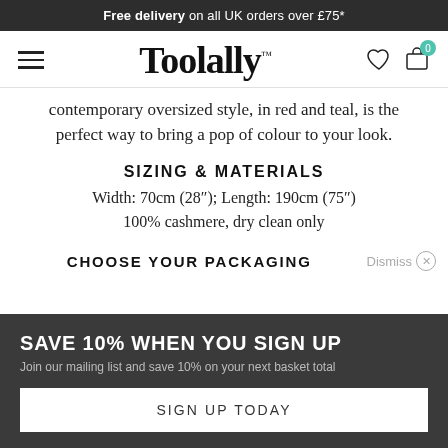Free delivery on all UK orders over £75*
[Figure (logo): Toolally brand logo with hamburger menu, heart icon, and shopping bag icon with teal badge showing 0]
contemporary oversized style, in red and teal, is the perfect way to bring a pop of colour to your look.
SIZING & MATERIALS
Width: 70cm (28"); Length: 190cm (75")
100% cashmere, dry clean only
CHOOSE YOUR PACKAGING
SAVE 10% WHEN YOU SIGN UP
Join our mailing list and save 10% on your next basket total
SIGN UP TODAY